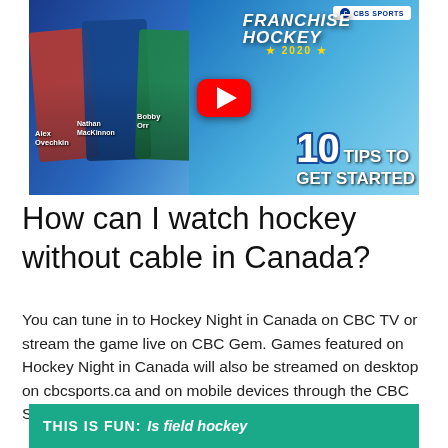[Figure (screenshot): YouTube thumbnail for 'Franchise Hockey 2020 – 10 Tips to Get Started' video by CBS Sports, featuring hockey player cards (Alex Ovechkin, Nathan MacKinnon, Bobby Orr) with a red YouTube play button overlay.]
How can I watch hockey without cable in Canada?
You can tune in to Hockey Night in Canada on CBC TV or stream the game live on CBC Gem. Games featured on Hockey Night in Canada will also be streamed on desktop on cbcsports.ca and on mobile devices through the CBC Sports app.
THIS IS FUN:  Is field hockey